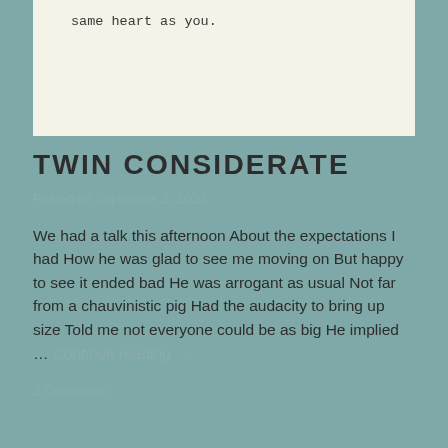same heart as you.
TWIN CONSIDERATE
Posted on September 2, 2020
We had a talk this afternoon About the expectations I had How he was glad to see me moving on But happy to see it ended bad He was arrogant as usual Not far from a chauvinistic pig Had the audacity to bring up size Told me not everyone could be as big He implied … Continue reading →
2 Comments